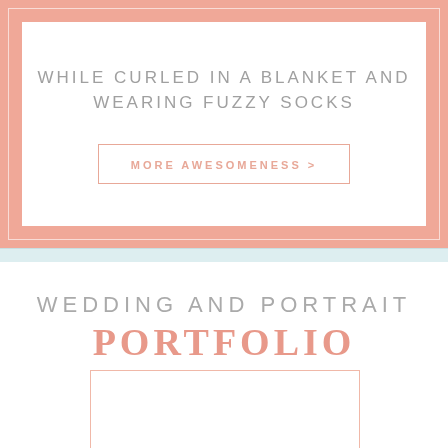WHILE CURLED IN A BLANKET AND WEARING FUZZY SOCKS
MORE AWESOMENESS >
WEDDING AND PORTRAIT PORTFOLIO
[Figure (other): Empty image placeholder with light peach border]